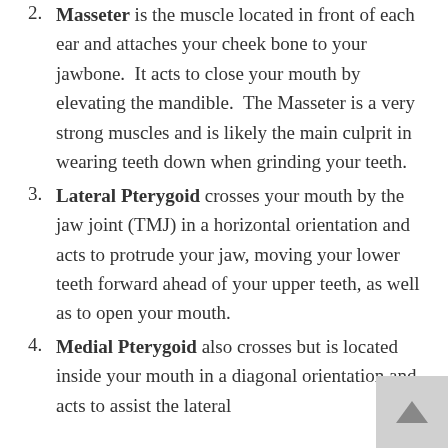2. Masseter is the muscle located in front of each ear and attaches your cheek bone to your jawbone. It acts to close your mouth by elevating the mandible. The Masseter is a very strong muscles and is likely the main culprit in wearing teeth down when grinding your teeth.
3. Lateral Pterygoid crosses your mouth by the jaw joint (TMJ) in a horizontal orientation and acts to protrude your jaw, moving your lower teeth forward ahead of your upper teeth, as well as to open your mouth.
4. Medial Pterygoid also crosses but is located inside your mouth in a diagonal orientation and acts to assist the lateral